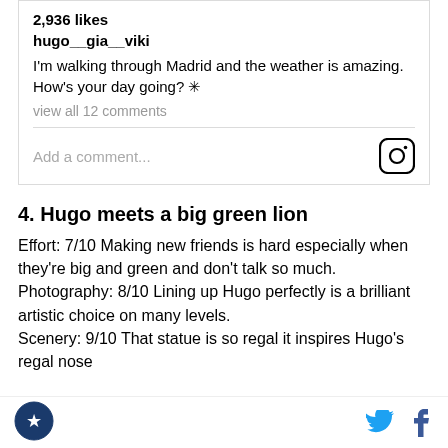2,936 likes
hugo__gia__viki
I'm walking through Madrid and the weather is amazing. How's your day going? ✳
view all 12 comments
Add a comment...
4. Hugo meets a big green lion
Effort: 7/10 Making new friends is hard especially when they're big and green and don't talk so much. Photography: 8/10 Lining up Hugo perfectly is a brilliant artistic choice on many levels. Scenery: 9/10 That statue is so regal it inspires Hugo's regal nose